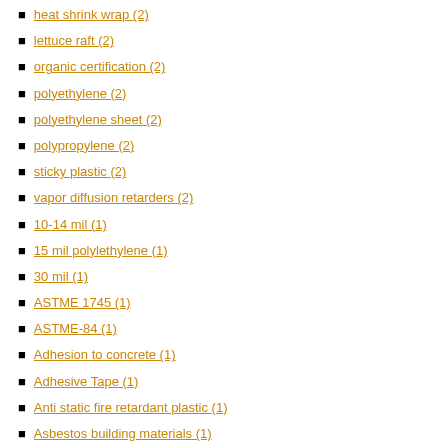heat shrink wrap (2)
lettuce raft (2)
organic certification (2)
polyethylene (2)
polyethylene sheet (2)
polypropylene (2)
sticky plastic (2)
vapor diffusion retarders (2)
10-14 mil (1)
15 mil polylethylene (1)
30 mil (1)
ASTME 1745 (1)
ASTME-84 (1)
Adhesion to concrete (1)
Adhesive Tape (1)
Anti static fire retardant plastic (1)
Asbestos building materials (1)